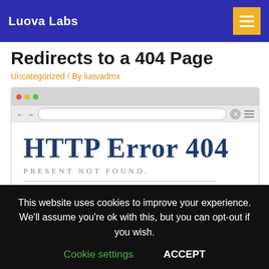Luova Labs
Redirects to a 404 Page
Uncategorized / By luovadmx
[Figure (screenshot): Browser window screenshot showing an HTTP Error 404 page with text 'PRESENT NOT FOUND.']
This website uses cookies to improve your experience. We'll assume you're ok with this, but you can opt-out if you wish.
Cookie settings    ACCEPT